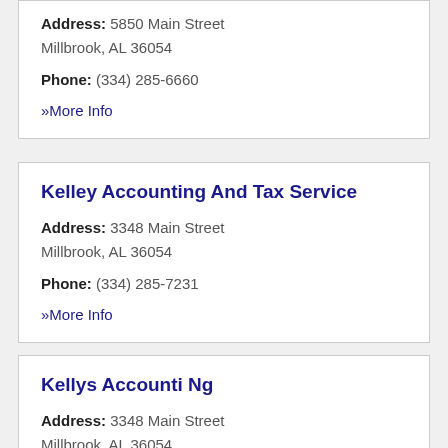Address: 5850 Main Street Millbrook, AL 36054
Phone: (334) 285-6660
» More Info
Kelley Accounting And Tax Service
Address: 3348 Main Street Millbrook, AL 36054
Phone: (334) 285-7231
» More Info
Kellys Accounti Ng
Address: 3348 Main Street Millbrook, AL 36054